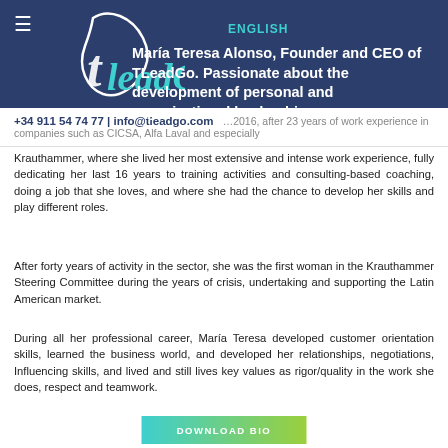María Teresa Alonso, Founder and CEO of TLeadGo. Passionate about the development of personal and organizational leadership.
ENGLISH
+34 911 54 74 77 | info@tleadgo.com
Krauthammer, where she lived her most extensive and intense work experience, fully dedicating her last 16 years to training activities and consulting-based coaching, doing a job that she loves, and where she had the chance to develop her skills and play different roles.
After forty years of activity in the sector, she was the first woman in the Krauthammer Steering Committee during the years of crisis, undertaking and supporting the Latin American market.
During all her professional career, María Teresa developed customer orientation skills, learned the business world, and developed her relationships, negotiations, Influencing skills, and lived and still lives key values as rigor/quality in the work she does, respect and teamwork.
DOWNLOAD BIO